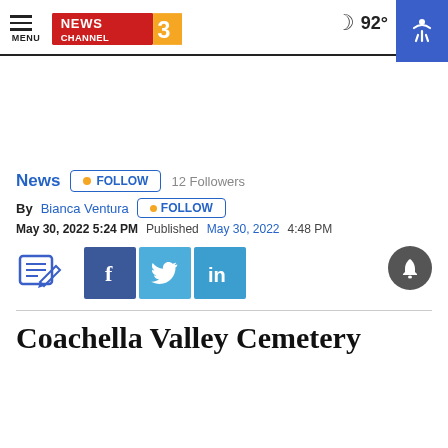NEWS CHANNEL 3 | MENU | 92°
News FOLLOW 12 Followers
By Bianca Ventura FOLLOW
May 30, 2022 5:24 PM  Published May 30, 2022 4:48 PM
[Figure (logo): Facebook, Twitter, LinkedIn social share icons and notification bell]
Coachella Valley Cemetery